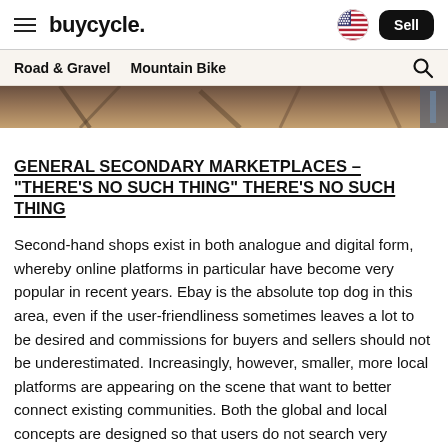buycycle. [navigation with hamburger menu, US flag, Sell button]
Road & Gravel  Mountain Bike
[Figure (photo): Partial cropped photo of bicycles, warm brown/orange tones, showing handlebars and bike components]
GENERAL SECONDARY MARKETPLACES – "THERE'S NO SUCH THING" THERE'S NO SUCH THING
Second-hand shops exist in both analogue and digital form, whereby online platforms in particular have become very popular in recent years. Ebay is the absolute top dog in this area, even if the user-friendliness sometimes leaves a lot to be desired and commissions for buyers and sellers should not be underestimated. Increasingly, however, smaller, more local platforms are appearing on the scene that want to better connect existing communities. Both the global and local concepts are designed so that users do not search very specifically, but act more like in a